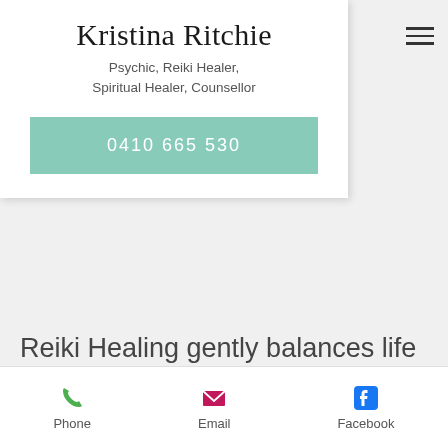Kristina Ritchie
Psychic, Reiki Healer, Spiritual Healer, Counsellor
0410 665 530
Reiki Healing gently balances life energies and brings wellbeing and good health to the client. This simple Healing System is a very gentle non
Phone  Email  Facebook